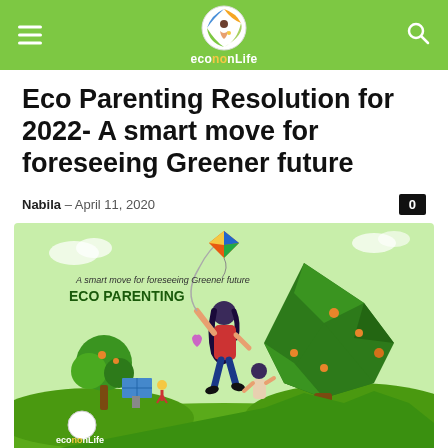ecoNONLife
Eco Parenting Resolution for 2022- A smart move for foreseeing Greener future
Nabila – April 11, 2020
[Figure (illustration): Eco Parenting illustration showing a mother and child flying a kite in a green landscape with a large polygonal tree, solar panels, and the ecoNONLife logo. Text reads: 'A smart move for foreseeing Greener future ECO PARENTING']